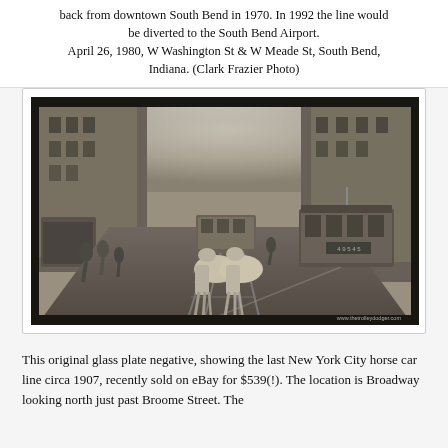back from downtown South Bend in 1970. In 1992 the line would be diverted to the South Bend Airport. April 26, 1980, W Washington St & W Meade St, South Bend, Indiana. (Clark Frazier Photo)
[Figure (photo): Black and white historical photograph showing a horse-drawn car and an electric streetcar on Broadway in New York City, circa 1907. The street runs straight ahead into a hazy background flanked by tall buildings. Two white horses pull the horse car in the center foreground. An electric trolley car is visible to the right. Pedestrians line the sidewalks. Railroad tracks are visible on the street. A watermark reads www.thetrolleydodger.com at the bottom right.]
This original glass plate negative, showing the last New York City horse car line circa 1907, recently sold on eBay for $539(!). The location is Broadway looking north just past Broome Street. The